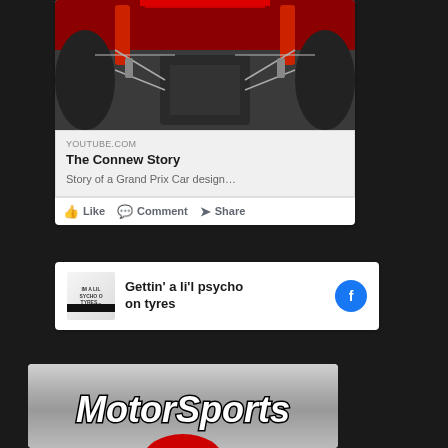[Figure (screenshot): Facebook post card showing a race car chassis photo from underneath, with a YouTube link preview for 'The Connew Story' - Story of a Grand Prix Car design...]
YOUTUBE.COM
The Connew Story
Story of a Grand Prix Car design...
Like   Comment   Share
[Figure (screenshot): Facebook card showing 'Gettin' a li'l psycho on tyres' with a logo on the left and Facebook icon on the right]
[Figure (logo): MotorSports logo/banner on dark metallic background with stylized italic text]